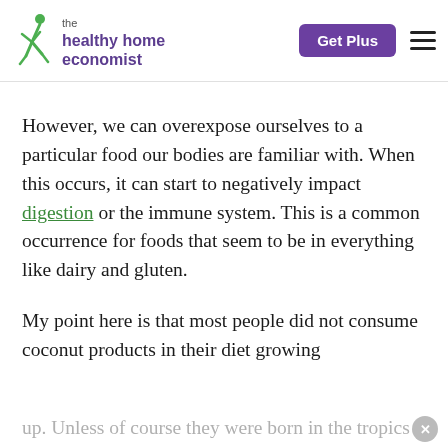the healthy home economist | Get Plus
However, we can overexpose ourselves to a particular food our bodies are familiar with. When this occurs, it can start to negatively impact digestion or the immune system. This is a common occurrence for foods that seem to be in everything like dairy and gluten.
My point here is that most people did not consume coconut products in their diet growing up. Unless of course they were born in the tropics